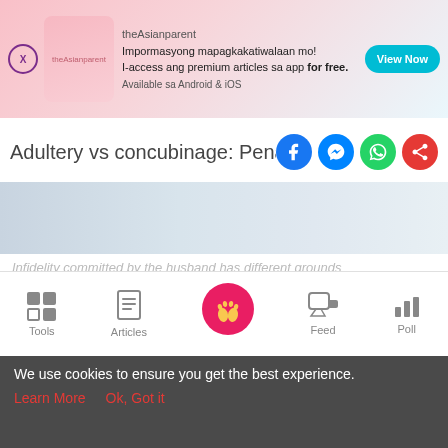[Figure (infographic): theAsianparent app advertisement banner with pink gradient background, app icon, and 'View Now' button]
Adultery vs concubinage: Penalizing i
[Figure (infographic): Social media share icons: Facebook, Messenger, WhatsApp, Share]
[Figure (photo): Hero image showing people in light-colored clothing]
Infidelity committed by the husband has different grounds
6 min read
[Figure (screenshot): Black video player box]
[Figure (infographic): Bottom navigation bar with Tools, Articles, Home (baby feet pink circle), Feed, Poll icons]
We use cookies to ensure you get the best experience.
Learn More    Ok, Got it